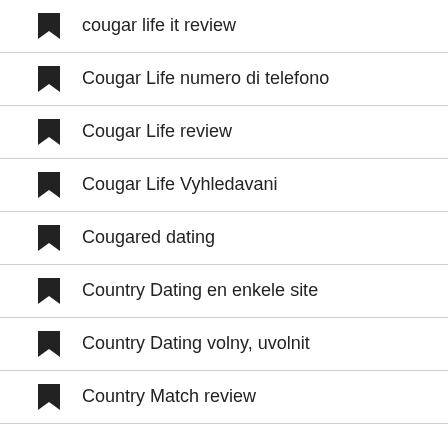cougar life it review
Cougar Life numero di telefono
Cougar Life review
Cougar Life Vyhledavani
Cougared dating
Country Dating en enkele site
Country Dating volny, uvolnit
Country Match review